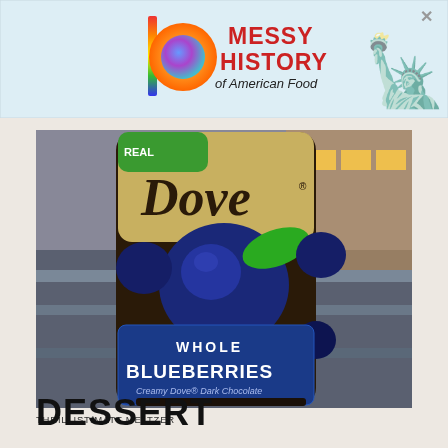[Figure (screenshot): Advertisement banner with colorful bar logo, circle logo, text 'MESSY HISTORY of American Food' in red, Statue of Liberty illustration, and close X button]
[Figure (photo): Photo of a Dove brand bag of Whole Blueberries in Creamy Dove Dark Chocolate, displayed at what appears to be an airport or store counter]
THRILLIST/MATT MELTZER
DESSERT